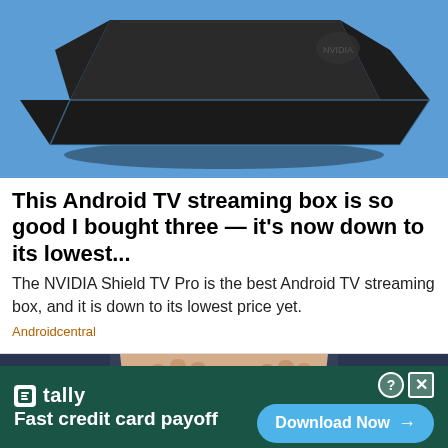[Figure (photo): NVIDIA Shield TV Pro device photographed on a blue fabric surface, showing the black angular device with a logo visible]
This Android TV streaming box is so good I bought three — it's now down to its lowest...
The NVIDIA Shield TV Pro is the best Android TV streaming box, and it is down to its lowest price yet.
Androidcentral
[Figure (photo): Close-up photo of a person's hands on their waist/hips area against a dark background]
tally Fast credit card payoff Download Now →